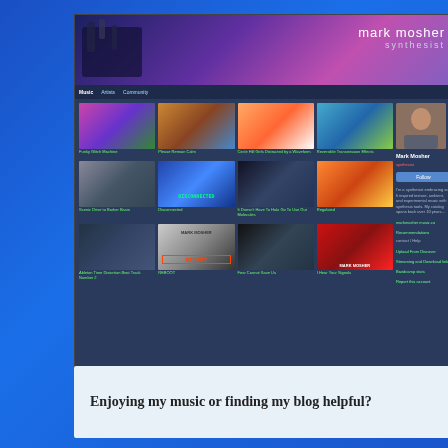[Figure (screenshot): Screenshot of Mark Mosher Synthesist music website showing album grid with 12 album covers, navigation bar, sidebar with profile photo and links]
Enjoying my music or finding my blog helpful?